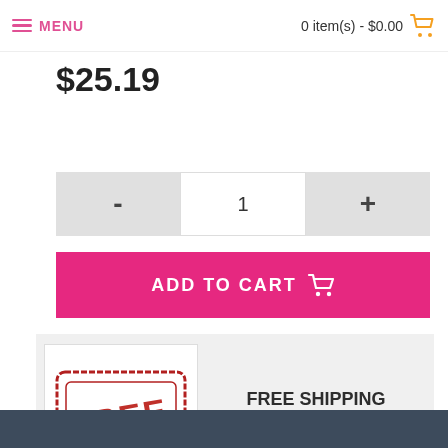MENU | 0 item(s) - $0.00
$25.19
- | 1 | +
ADD TO CART
[Figure (illustration): FREE SHIPPING stamp illustration in red with bold text]
FREE SHIPPING
Over $35
smaller orders
pay only $6.99
DESCRIPTION